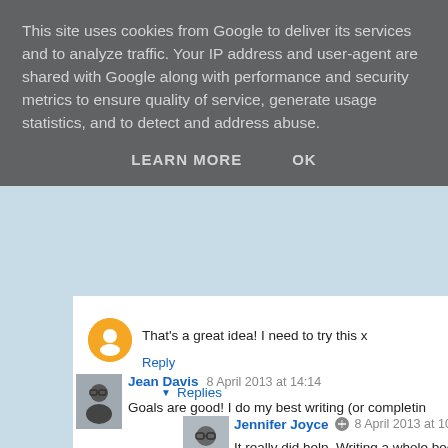This site uses cookies from Google to deliver its services and to analyze traffic. Your IP address and user-agent are shared with Google along with performance and security metrics to ensure quality of service, generate usage statistics, and to detect and address abuse.
LEARN MORE    OK
That's a great idea! I need to try this x
Reply
Replies
Jennifer Joyce  8 April 2013 at 10:19
It really did help. Writing a whole book is a b
Reply
Jean Davis  8 April 2013 at 14:14
Goals are good! I do my best writing (or completin